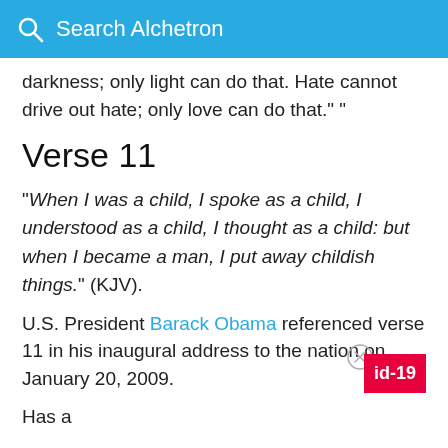Search Alchetron
darkness; only light can do that. Hate cannot drive out hate; only love can do that." "
Verse 11
"When I was a child, I spoke as a child, I understood as a child, I thought as a child: but when I became a man, I put away childish things." (KJV).
U.S. President Barack Obama referenced verse 11 in his inaugural address to the nation on January 20, 2009.
Has a